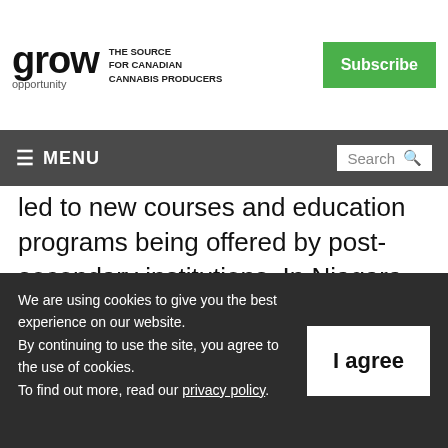grow opportunity — THE SOURCE FOR CANADIAN CANNABIS PRODUCERS
led to new courses and education programs being offered by post-secondary institutions. In Niagara-On-The-Lake, Niagara College now offers a post-secondary education in commercial cannabis production.
The University of Guelph is obtaining more
We are using cookies to give you the best experience on our website.
By continuing to use the site, you agree to the use of cookies.
To find out more, read our privacy policy.